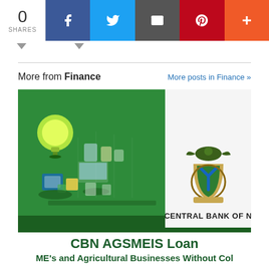[Figure (screenshot): Social share bar with count 0 SHARES and buttons for Facebook, Twitter, Email, Pinterest, and More (+)]
More from Finance
More posts in Finance »
[Figure (illustration): Article card showing a green background with isometric tech/business icons on the left and the Central Bank of Nigeria emblem on the right, with text 'CENTRAL BANK OF N...']
CBN AGSMEIS Loan
ME's and Agricultural Businesses Without Col